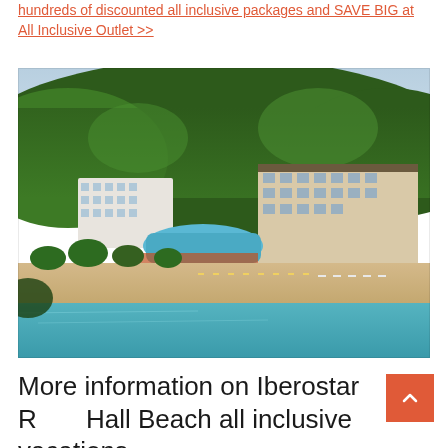hundreds of discounted all inclusive packages and SAVE BIG at All Inclusive Outlet >>
[Figure (photo): Aerial view of Iberostar Rose Hall Beach resort in Jamaica showing the hotel buildings, swimming pool, beach with sun loungers and umbrellas, turquoise water, and green hillside in the background.]
More information on Iberostar Rose Hall Beach all inclusive vacations